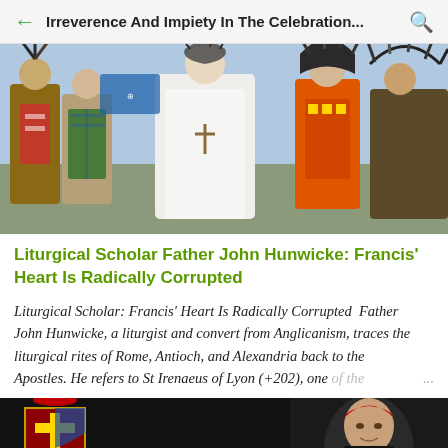Irreverence And Impiety In The Celebration...
[Figure (photo): Group photo showing the Pope in white vestments surrounded by people in indigenous ceremonial dress and headdresses, outdoors at an event.]
Liturgical Scholar Father John Hunwicke: Francis' Heart Is Radically Corrupted
Liturgical Scholar: Francis' Heart Is Radically Corrupted  Father John Hunwicke, a liturgist and convert from Anglicanism, traces the liturgical rites of Rome, Antioch, and Alexandria back to the Apostles. He refers to St Irenaeus of Lyon (+202), one of the ...
[Figure (photo): Dark background image showing a cardinal in red zucchetto, with a coat of arms/crest visible on the left side.]